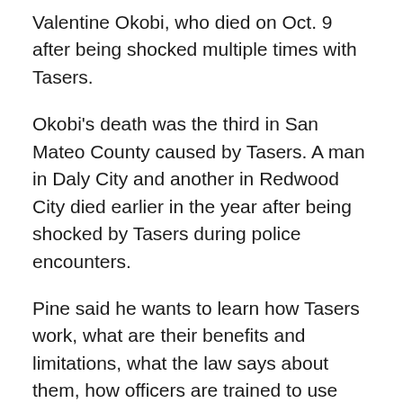Valentine Okobi, who died on Oct. 9 after being shocked multiple times with Tasers.
Okobi's death was the third in San Mateo County caused by Tasers. A man in Daly City and another in Redwood City died earlier in the year after being shocked by Tasers during police encounters.
Pine said he wants to learn how Tasers work, what are their benefits and limitations, what the law says about them, how officers are trained to use them and how often they are used in connection to mental health crises.
Pine said the committee will not be investigating any of the Taser-related deaths in the county.
All three of the men who died after being shocked by